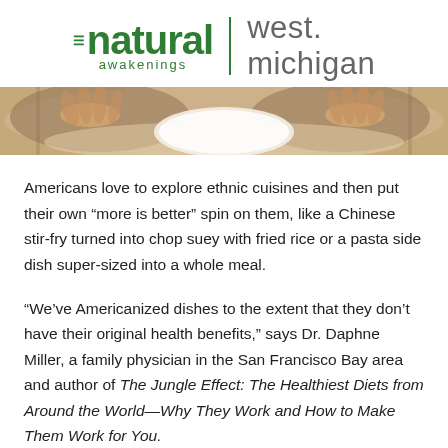natural awakenings | west michigan
[Figure (photo): Cropped photo of hands around a white plate on a wooden table, showing rings and a watch]
Americans love to explore ethnic cuisines and then put their own “more is better” spin on them, like a Chinese stir-fry turned into chop suey with fried rice or a pasta side dish super-sized into a whole meal.
“We’ve Americanized dishes to the extent that they don’t have their original health benefits,” says Dr. Daphne Miller, a family physician in the San Francisco Bay area and author of The Jungle Effect: The Healthiest Diets from Around the World—Why They Work and How to Make Them Work for You.